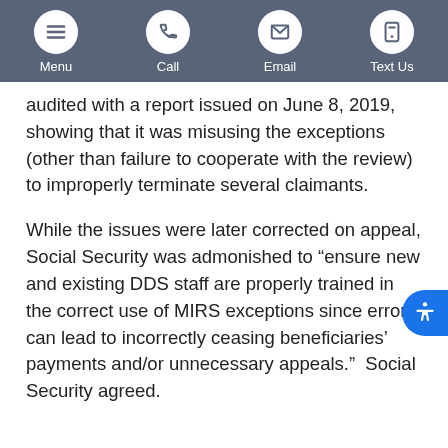Menu | Call | Email | Text Us
audited with a report issued on June 8, 2019, showing that it was misusing the exceptions (other than failure to cooperate with the review) to improperly terminate several claimants.
While the issues were later corrected on appeal, Social Security was admonished to “ensure new and existing DDS staff are properly trained in the correct use of MIRS exceptions since errors can lead to incorrectly ceasing beneficiaries’ payments and/or unnecessary appeals.”  Social Security agreed.